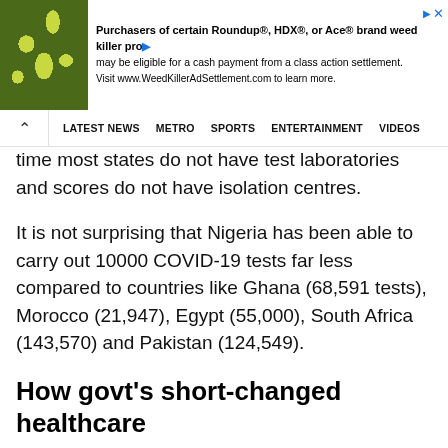[Figure (screenshot): Advertisement banner for Roundup/HDX/Ace weed killer class action settlement with plant background image]
LATEST NEWS  METRO  SPORTS  ENTERTAINMENT  VIDEOS
time most states do not have test laboratories and scores do not have isolation centres.
It is not surprising that Nigeria has been able to carry out 10000 COVID-19 tests far less compared to countries like Ghana (68,591 tests), Morocco (21,947), Egypt (55,000), South Africa (143,570) and Pakistan (124,549).
How govt’s short-changed healthcare
In the last 12 years, Federal budgetary allocation